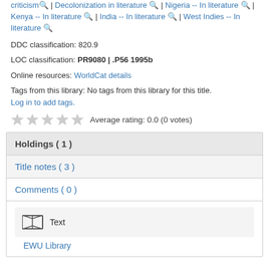Subject(s): Commonwealth literature (English) -- History and criticism | Decolonization in literature | Nigeria -- In literature | Kenya -- In literature | India -- In literature | West Indies -- In literature
DDC classification: 820.9
LOC classification: PR9080 | .P56 1995b
Online resources: WorldCat details
Tags from this library: No tags from this library for this title. Log in to add tags.
Average rating: 0.0 (0 votes)
Holdings ( 1 )
Title notes ( 3 )
Comments ( 0 )
Text
EWU Library